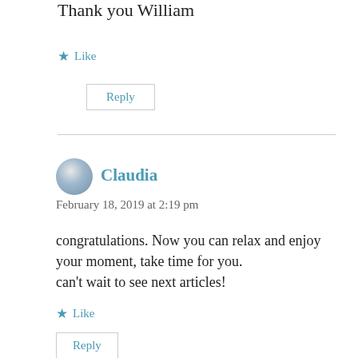Thank you William
★ Like
Reply
Claudia
February 18, 2019 at 2:19 pm
congratulations. Now you can relax and enjoy your moment, take time for you.
can't wait to see next articles!
★ Like
Reply